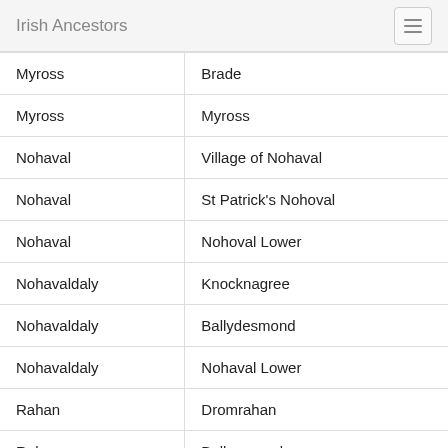Irish Ancestors
| Myross | Brade |
| Myross | Myross |
| Nohaval | Village of Nohaval |
| Nohaval | St Patrick's Nohoval |
| Nohaval | Nohoval Lower |
| Nohavaldaly | Knocknagree |
| Nohavaldaly | Ballydesmond |
| Nohavaldaly | Nohaval Lower |
| Rahan | Dromrahan |
| Rahan | Ballymagooly |
| Rathbarry | Rathbarry |